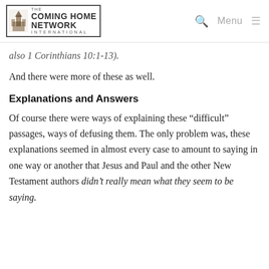The Coming Home Network International | Menu
also 1 Corinthians 10:1-13).
And there were more of these as well.
Explanations and Answers
Of course there were ways of explaining these “difficult” passages, ways of defusing them. The only problem was, these explanations seemed in almost every case to amount to saying in one way or another that Jesus and Paul and the other New Testament authors didn’t really mean what they seem to be saying.